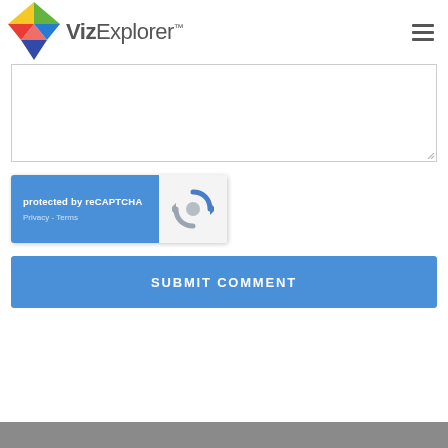VizExplorer
[Figure (screenshot): Empty text area input box with resize handle at bottom-right]
[Figure (screenshot): reCAPTCHA widget: blue left panel with 'protected by reCAPTCHA' and 'Privacy - Terms', white right panel with reCAPTCHA circular arrow logo]
[Figure (screenshot): Blue SUBMIT COMMENT button]